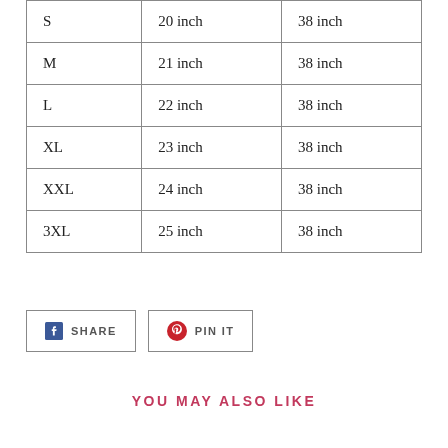| S | 20 inch | 38 inch |
| M | 21 inch | 38 inch |
| L | 22 inch | 38 inch |
| XL | 23 inch | 38 inch |
| XXL | 24 inch | 38 inch |
| 3XL | 25 inch | 38 inch |
SHARE
PIN IT
YOU MAY ALSO LIKE